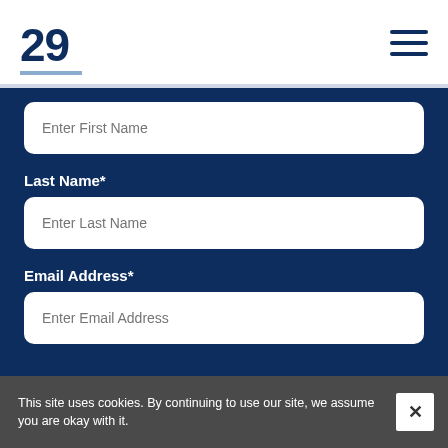29
[Figure (other): Input field with placeholder text 'Enter First Name']
Last Name*
[Figure (other): Input field with placeholder text 'Enter Last Name']
Email Address*
[Figure (other): Input field with placeholder text 'Enter Email Address']
This site uses cookies. By continuing to use our site, we assume you are okay with it.